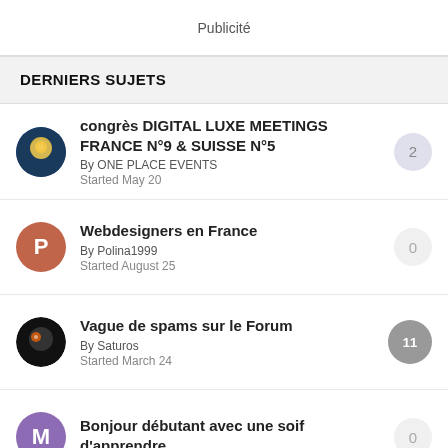Publicité
DERNIERS SUJETS
congrès DIGITAL LUXE MEETINGS FRANCE N°9 & SUISSE N°5
By ONE PLACE EVENTS
Started May 20
[2 replies]
Webdesigners en France
By Polina1999
Started August 25
[0 replies]
Vague de spams sur le Forum
By Saturos
Started March 24
[11 replies]
Bonjour débutant avec une soif d'apprendre
[0 replies]